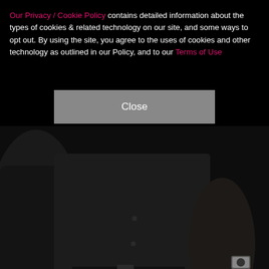Our Privacy / Cookie Policy contains detailed information about the types of cookies & related technology on our site, and some ways to opt out. By using the site, you agree to the uses of cookies and other technology as outlined in our Policy, and to our Terms of Use
Close
[Figure (photo): Two or three people in dark/black clothing, torso-level view, no faces visible. One person wearing a watch on the right wrist. Dark background, appears to be an event or red carpet photo.]
2/24   JEFF KRAVITZ / FILMMAGIC, INC
—
"Bruce and I became good friends when we shared 2
NEXT →
on Newz Online